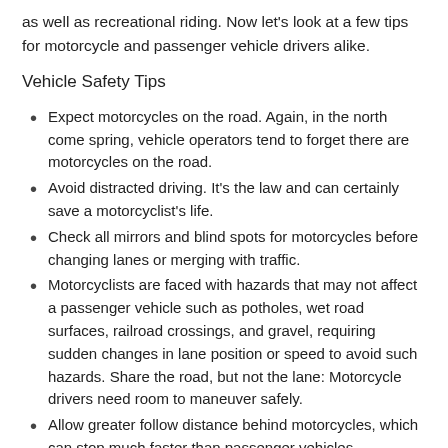as well as recreational riding. Now let's look at a few tips for motorcycle and passenger vehicle drivers alike.
Vehicle Safety Tips
Expect motorcycles on the road. Again, in the north come spring, vehicle operators tend to forget there are motorcycles on the road.
Avoid distracted driving. It's the law and can certainly save a motorcyclist's life.
Check all mirrors and blind spots for motorcycles before changing lanes or merging with traffic.
Motorcyclists are faced with hazards that may not affect a passenger vehicle such as potholes, wet road surfaces, railroad crossings, and gravel, requiring sudden changes in lane position or speed to avoid such hazards. Share the road, but not the lane: Motorcycle drivers need room to maneuver safely.
Allow greater follow distance behind motorcycles, which can stop much faster than passenger vehicles.